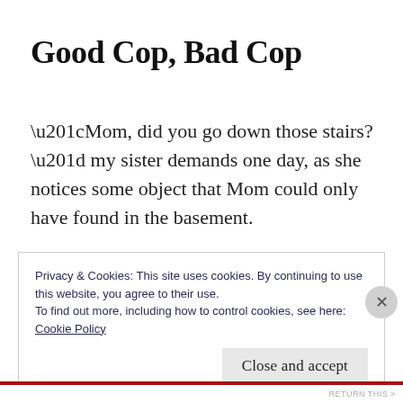Good Cop, Bad Cop
“Mom, did you go down those stairs?” my sister demands one day, as she notices some object that Mom could only have found in the basement.
“I was very careful!” my mother protests. “I
Privacy & Cookies: This site uses cookies. By continuing to use this website, you agree to their use.
To find out more, including how to control cookies, see here:
Cookie Policy
Close and accept